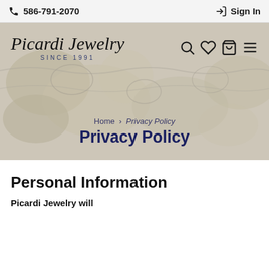📞 586-791-2070   Sign In
[Figure (logo): Picardi Jewelry Since 1991 logo with decorative italic script text]
Privacy Policy
Home › Privacy Policy
Personal Information
Picardi Jewelry will...